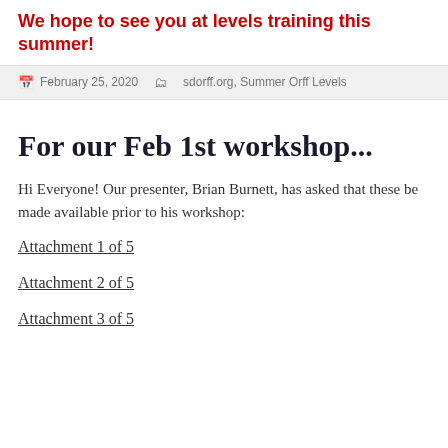We hope to see you at levels training this summer!
February 25, 2020   sdorff.org, Summer Orff Levels
For our Feb 1st workshop...
Hi Everyone! Our presenter, Brian Burnett, has asked that these be made available prior to his workshop:
Attachment 1 of 5
Attachment 2 of 5
Attachment 3 of 5